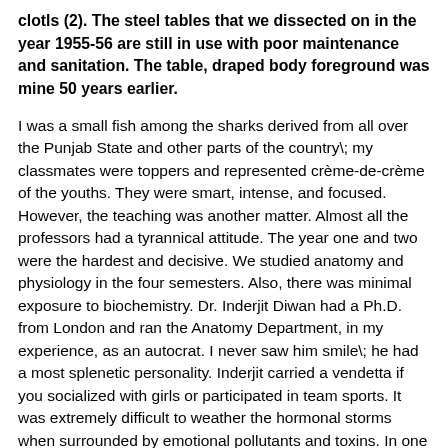clotls (2). The steel tables that we dissected on in the year 1955-56 are still in use with poor maintenance and sanitation. The table, draped body foreground was mine 50 years earlier.
I was a small fish among the sharks derived from all over the Punjab State and other parts of the country\; my classmates were toppers and represented crème-de-crème of the youths. They were smart, intense, and focused. However, the teaching was another matter. Almost all the professors had a tyrannical attitude. The year one and two were the hardest and decisive. We studied anatomy and physiology in the four semesters. Also, there was minimal exposure to biochemistry. Dr. Inderjit Diwan had a Ph.D. from London and ran the Anatomy Department, in my experience, as an autocrat. I never saw him smile\; he had a most splenetic personality. Inderjit carried a vendetta if you socialized with girls or participated in team sports. It was extremely difficult to weather the hormonal storms when surrounded by emotional pollutants and toxins. In one of our psychiatry talks by Dr. Nakai, one of us asked: "how to hook a girl." "Become a good hook," was the curt answer. We should concentrate on studies and use transformation and sublimation techniques. What a life,